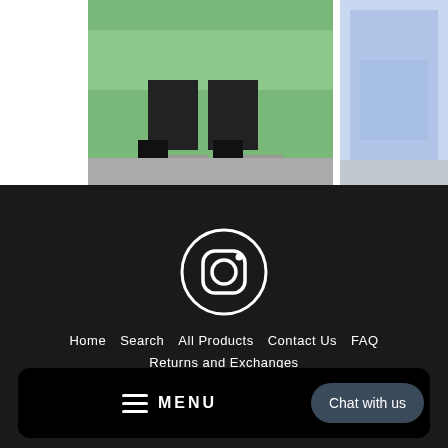[Figure (photo): Person wearing black leggings and sneakers on pavement with green background]
[Figure (photo): Person wearing light blue leggings, rear view, on tile surface]
[Figure (logo): Instagram icon in white circle on dark background]
Home  Search  All Products  Contact Us  FAQ  Returns and Exchanges
≡ MENU  Chat with us